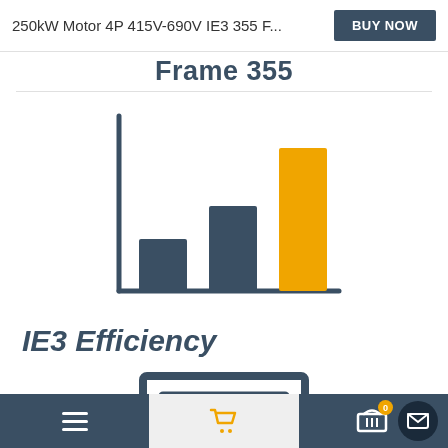250kW Motor 4P 415V-690V IE3 355 F...
Frame 355
[Figure (bar-chart): Bar chart showing three efficiency levels IE1, IE2, IE3. IE1 and IE2 are dark blue/grey bars, IE3 is a taller orange bar indicating higher efficiency.]
IE3 Efficiency
[Figure (illustration): Icon showing a rectangular frame/nameplate outline in dark blue]
Navigation bar with hamburger menu, shopping cart, basket with badge 0, and mail button